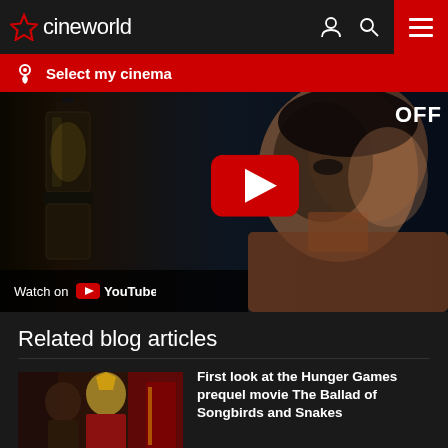cineworld
Select my cinema
[Figure (screenshot): YouTube video embed showing a close-up of an Asian woman holding a lantern in a dark scene, with a red YouTube play button overlay and 'Watch on YouTube' bar at bottom left. 'OFF' text visible top right.]
Related blog articles
[Figure (photo): Thumbnail image for Hunger Games prequel article showing costumed characters]
First look at the Hunger Games prequel movie The Ballad of Songbirds and Snakes